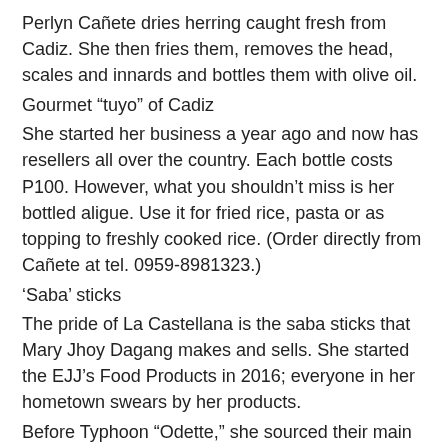Perlyn Cañete dries herring caught fresh from Cadiz. She then fries them, removes the head, scales and innards and bottles them with olive oil.
Gourmet “tuyo” of Cadiz
She started her business a year ago and now has resellers all over the country. Each bottle costs P100. However, what you shouldn’t miss is her bottled aligue. Use it for fried rice, pasta or as topping to freshly cooked rice. (Order directly from Cañete at tel. 0959-8981323.)
‘Saba’ sticks
The pride of La Castellana is the saba sticks that Mary Jhoy Dagang makes and sells. She started the EJJ’s Food Products in 2016; everyone in her hometown swears by her products.
Before Typhoon “Odette,” she sourced their main ingredients from their own farm. They now get their saba bananas from Davao.
Dagang’s saba sticks may remind you of the flavors and